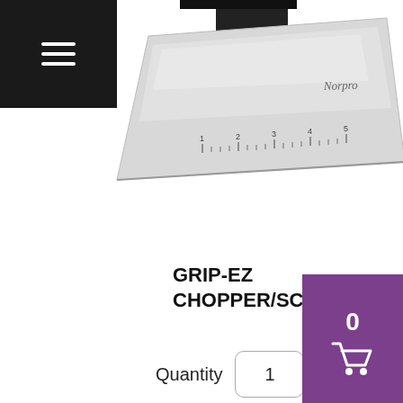[Figure (photo): A Norpro Grip-EZ Chopper/Scraper kitchen tool with stainless steel blade with ruler markings and black handle, photographed at an angle on white background.]
GRIP-EZ CHOPPER/SCRAPER
$7.19
Quantity 1